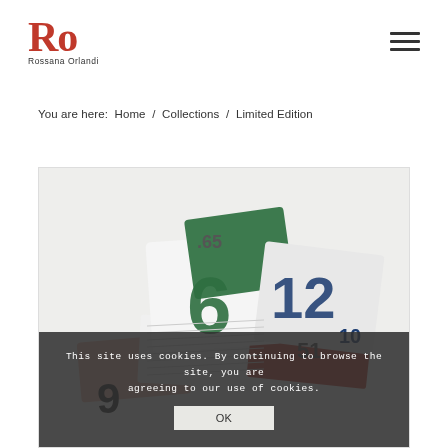Ro Rossana Orlandi
You are here:  Home  /  Collections  /  Limited Edition
[Figure (photo): Artwork made from colorful license plates arranged into a sculptural collage, showing various numbers including 6, 12, 51, 85, 9, 36 and others in green, red, white and blue colors]
This site uses cookies. By continuing to browse the site, you are agreeing to our use of cookies.